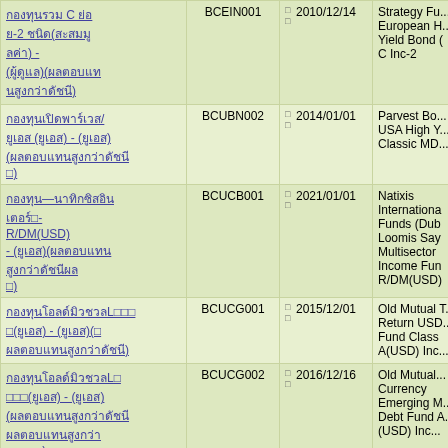| Fund Name (Thai) | Code |  | Date | Fund Name (English) |
| --- | --- | --- | --- | --- |
| กองทุนรวม C ย่อย-2 ชนิด(สะสมมูลค่า) - (ผู้ดูแล)(ผลตอบแทนสูงกว่าดัชนี) | BCEIN001 | □□ | 2010/12/14 | Strategy Fu... European H... Yield Bond C... C Inc-2 |
| กองทุนเปิดพาร์เวส/ยูเอส (ยูเอส) - (ยูเอส) (ผลตอบแทนสูงกว่าดัชนี□) | BCUBN002 | □□ | 2014/01/01 | Parvest Bo... USA High Y... Classic MD... |
| กองทุน—นาทิกซิสอินเตอร์□- R/DM(USD) - (ยูเอส)(ผลตอบแทนสูงกว่าดัชนี□) | BCUCB001 | □□ | 2021/01/01 | Natixis Internationa... Funds (Dub... Loomis Say... Multisector Income Fun... R/DM(USD)... |
| กองทุนโอลด์มิวชวลL□□□(ยูเอส) - (ยูเอส)(□ผลตอบแทนสูงกว่าดัชนี) | BCUCG001 | □□ | 2015/12/01 | Old Mutual T... Return USD... Fund Class A(USD) Inc... |
| กองทุนโอลด์มิวชวลL□□□(ยูเอส) - (ยูเอส) (ผลตอบแทนสูงกว่าดัชนี□□) | BCUCG002 | □□ | 2016/12/16 | Old Mutual... Currency Emerging M... Debt Fund A... (USD) Inc... |